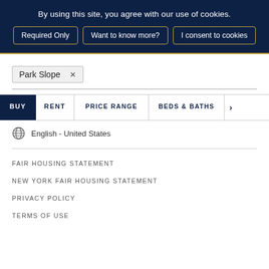By using this site, you agree with our use of cookies.
Required Only
Want to know more?
I consent to cookies
Park Slope ×
BUY   RENT   PRICE RANGE   BEDS & BATHS   >
English - United States
FAIR HOUSING STATEMENT
NEW YORK FAIR HOUSING STATEMENT
PRIVACY POLICY
TERMS OF USE